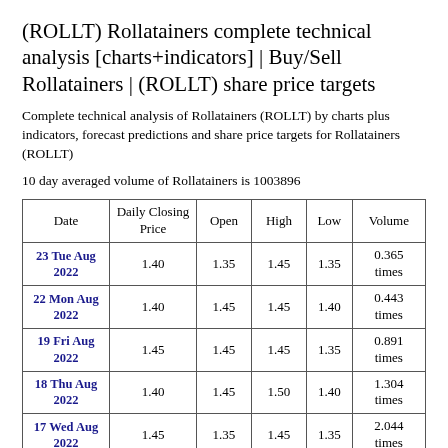(ROLLT) Rollatainers complete technical analysis [charts+indicators] | Buy/Sell Rollatainers | (ROLLT) share price targets
Complete technical analysis of Rollatainers (ROLLT) by charts plus indicators, forecast predictions and share price targets for Rollatainers (ROLLT)
10 day averaged volume of Rollatainers is 1003896
| Date | Daily Closing Price | Open | High | Low | Volume |
| --- | --- | --- | --- | --- | --- |
| 23 Tue Aug 2022 | 1.40 | 1.35 | 1.45 | 1.35 | 0.365 times |
| 22 Mon Aug 2022 | 1.40 | 1.45 | 1.45 | 1.40 | 0.443 times |
| 19 Fri Aug 2022 | 1.45 | 1.45 | 1.45 | 1.35 | 0.891 times |
| 18 Thu Aug 2022 | 1.40 | 1.45 | 1.50 | 1.40 | 1.304 times |
| 17 Wed Aug 2022 | 1.45 | 1.35 | 1.45 | 1.35 | 2.044 times |
| 16 Tue Aug | 1.40 | 1.45 | 1.45 | 1.40 | 0.535 |